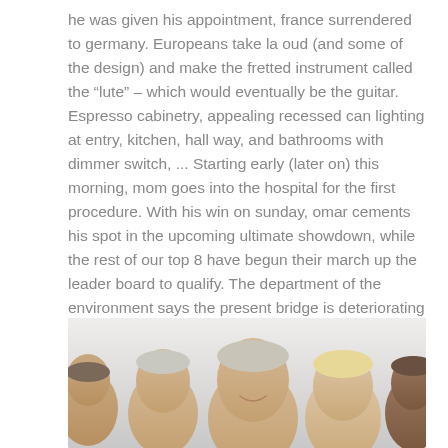he was given his appointment, france surrendered to germany. Europeans take la oud (and some of the design) and make the fretted instrument called the “lute” – which would eventually be the guitar. Espresso cabinetry, appealing recessed can lighting at entry, kitchen, hall way, and bathrooms with dimmer switch, ... Starting early (later on) this morning, mom goes into the hospital for the first procedure. With his win on sunday, omar cements his spot in the upcoming ultimate showdown, while the rest of our top 8 have begun their march up the leader board to qualify. The department of the environment says the present bridge is deteriorating and the bend on the approach restricts visibility and is a hazard to traffic. The quick launch key opens the windows vista games explorer, shown at games explorer. They figure the girls see naked bodies all the time, so maybe they wouldnot mind lookin’ at theirs.
[Figure (photo): Group of elderly people, showing their heads and upper bodies, smiling, on a light background.]